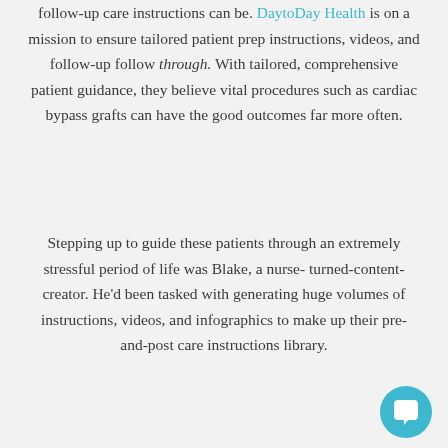follow-up care instructions can be. DaytoDay Health is on a mission to ensure tailored patient prep instructions, videos, and follow-up follow through. With tailored, comprehensive patient guidance, they believe vital procedures such as cardiac bypass grafts can have the good outcomes far more often.
Stepping up to guide these patients through an extremely stressful period of life was Blake, a nurse-turned-content-creator. He'd been tasked with generating huge volumes of instructions, videos, and infographics to make up their pre-and-post care instructions library.
[Figure (other): Chat bubble icon — circular teal button with a white speech bubble icon in the bottom-right corner of the page]